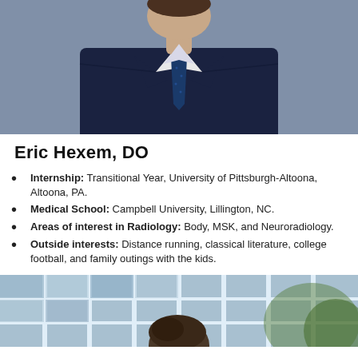[Figure (photo): Professional headshot of Eric Hexem, DO, wearing a dark suit and navy tie]
Eric Hexem, DO
Internship: Transitional Year, University of Pittsburgh-Altoona, Altoona, PA.
Medical School: Campbell University, Lillington, NC.
Areas of interest in Radiology: Body, MSK, and Neuroradiology.
Outside interests: Distance running, classical literature, college football, and family outings with the kids.
[Figure (photo): Partial photo of another person outdoors near a building with glass windows]